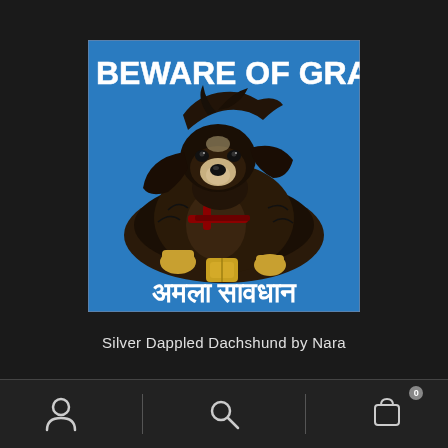[Figure (illustration): Painted sign with a dachshund dog on a blue background. Text at top reads 'BEWARE OF GRANY' in white letters and Hindi text at bottom reads 'अमला सावधान'. The dog is a dark-colored dachshund with golden paws wearing a harness.]
Silver Dappled Dachshund by Nara
navigation icons: user, search, cart